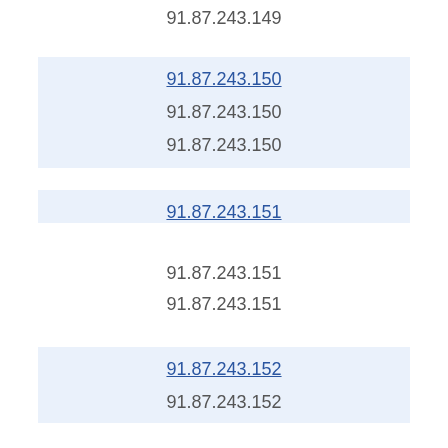91.87.243.149
91.87.243.150
91.87.243.150
91.87.243.150
91.87.243.151
91.87.243.151
91.87.243.151
91.87.243.152
91.87.243.152